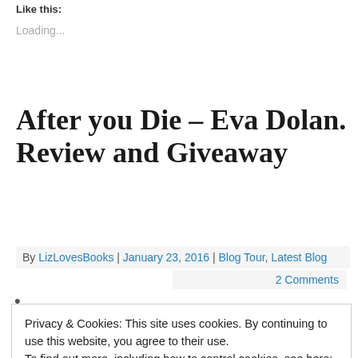Like this:
Loading...
After you Die – Eva Dolan. Review and Giveaway
By LizLovesBooks | January 23, 2016 | Blog Tour, Latest Blog
2 Comments
•
Privacy & Cookies: This site uses cookies. By continuing to use this website, you agree to their use.
To find out more, including how to control cookies, see here: Cookie Policy
Close and accept